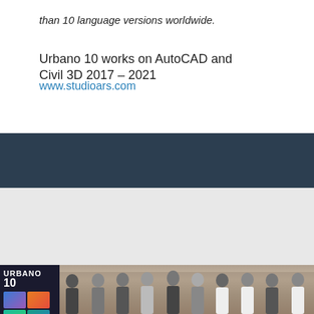than 10 language versions worldwide.
Urbano 10 works on AutoCAD and Civil 3D 2017 – 2021
www.studioars.com
[Figure (photo): Dark navy/slate blue horizontal band divider]
[Figure (photo): Light gray section with diagonal watermark-like mark]
[Figure (photo): Group photo of approximately 10 people standing in front of an Urbano 10 banner/display. The banner shows Urbano 10 branding with colorful product boxes.]